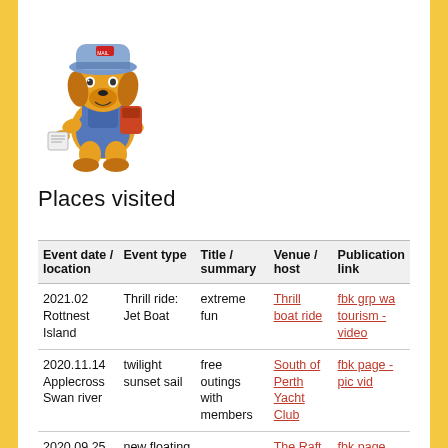[Figure (illustration): Cartoon dog character wearing a hat and backpack, holding a map or paper, standing upright]
Places visited
| Event date / location | Event type | Title / summary | Venue / host | Publication link |
| --- | --- | --- | --- | --- |
| 2021.02 Rottnest Island | Thrill ride: Jet Boat | extreme fun | Thrill boat ride | fbk grp wa tourism - video |
| 2020.11.14 Applecross Swan river | twilight sunset sail | free outings with members | South of Perth Yacht Club | fbk page - pic vid |
| 2020.09.25 Perth... | new floating ... |  | The Raft | fbk page |